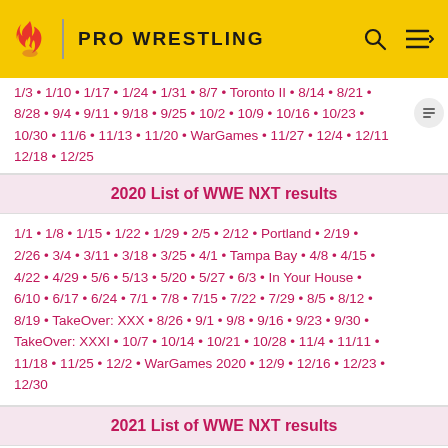PRO WRESTLING
1/3 • 1/10 • 1/17 • 1/24 • 1/31 • 8/7 • Toronto II • 8/14 • 8/21 • 8/28 • 9/4 • 9/11 • 9/18 • 9/25 • 10/2 • 10/9 • 10/16 • 10/23 • 10/30 • 11/6 • 11/13 • 11/20 • WarGames • 11/27 • 12/4 • 12/11 • 12/18 • 12/25
2020 List of WWE NXT results
1/1 • 1/8 • 1/15 • 1/22 • 1/29 • 2/5 • 2/12 • Portland • 2/19 • 2/26 • 3/4 • 3/11 • 3/18 • 3/25 • 4/1 • Tampa Bay • 4/8 • 4/15 • 4/22 • 4/29 • 5/6 • 5/13 • 5/20 • 5/27 • 6/3 • In Your House • 6/10 • 6/17 • 6/24 • 7/1 • 7/8 • 7/15 • 7/22 • 7/29 • 8/5 • 8/12 • 8/19 • TakeOver: XXX • 8/26 • 9/1 • 9/8 • 9/16 • 9/23 • 9/30 • TakeOver: XXXI • 10/7 • 10/14 • 10/21 • 10/28 • 11/4 • 11/11 • 11/18 • 11/25 • 12/2 • WarGames 2020 • 12/9 • 12/16 • 12/23 • 12/30
2021 List of WWE NXT results
1/6 • 1/13 • 1/20 • 1/27 • 2/3 • 2/10 • Vengeance Day • 2/17 • 2/24 • 3/3 • 3/10 • 3/17 • 3/24 • 3/31 • Stand & Deliver • 4/13 •